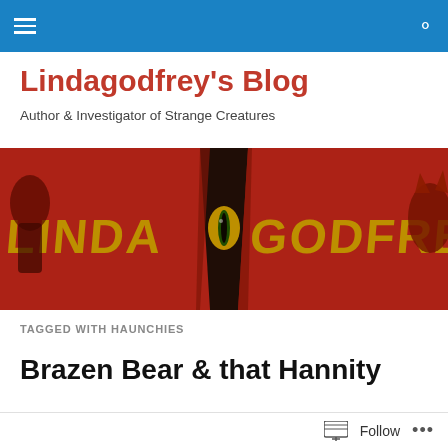Navigation bar with hamburger menu and search icon
Lindagodfrey's Blog
Author & Investigator of Strange Creatures
[Figure (illustration): Red background banner image with stylized text 'LINDA GODFREY' in yellow/gold letters, with a cat-like eye visible in the letter O, a wolf creature on the right side, and a dark figure on the left]
TAGGED WITH HAUNCHIES
Brazen Bear & that Hannity
Beast Vid
Follow ...